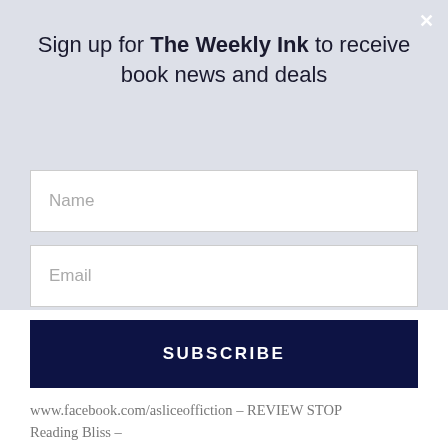Sign up for The Weekly Ink to receive book news and deals
Name
Email
SUBSCRIBE
www.facebook.com/asliceoffiction – REVIEW STOP
Reading Bliss –
http://ashleysreadingbliss.blogspot.com – Excerpt
Friday, May 2nd
Kayla's Place – http://www.kaylasplace.com –
REVIEW STOP